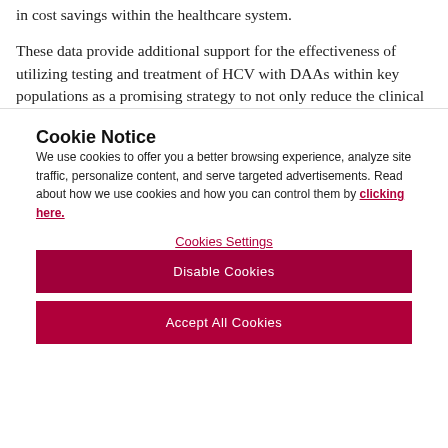in cost savings within the healthcare system. These data provide additional support for the effectiveness of utilizing testing and treatment of HCV with DAAs within key populations as a promising strategy to not only reduce the clinical and economic
Cookie Notice
We use cookies to offer you a better browsing experience, analyze site traffic, personalize content, and serve targeted advertisements. Read about how we use cookies and how you can control them by clicking here.
Cookies Settings
Disable Cookies
Accept All Cookies